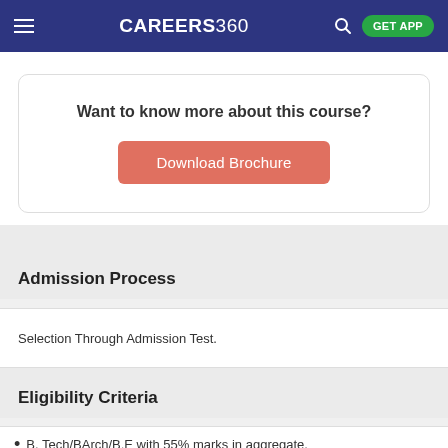CAREERS 360
Want to know more about this course?
Download Brochure
Admission Process
Selection Through Admission Test.
Eligibility Criteria
B. Tech/BArch/B.E with 55% marks in aggregate.